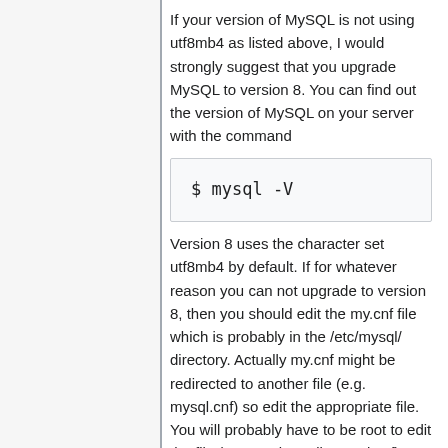If your version of MySQL is not using utf8mb4 as listed above, I would strongly suggest that you upgrade MySQL to version 8. You can find out the version of MySQL on your server with the command
Version 8 uses the character set utf8mb4 by default. If for whatever reason you can not upgrade to version 8, then you should edit the my.cnf file which is probably in the /etc/mysql/ directory. Actually my.cnf might be redirected to another file (e.g. mysql.cnf) so edit the appropriate file. You will probably have to be root to edit the file (e.g. "sudo gedit mysql.cnf). At the end of the file add the